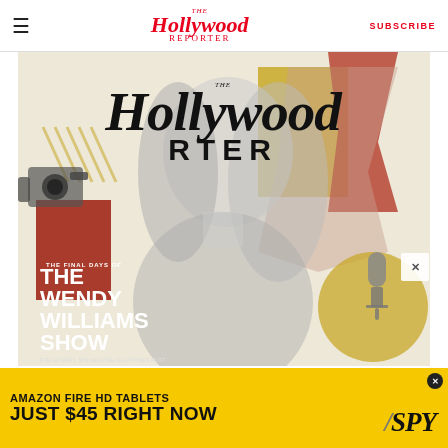The Hollywood Reporter — SUBSCRIBE
[Figure (illustration): The Hollywood Reporter magazine cover featuring Wendy Williams in black and white, with colorful graphic design elements including gold, red, and beige shapes. Text reads: THE FINAL DAYS OF THE WENDY WILLIAMS SHOW. FOR 12 YEARS, SHE WAS ONE OF DAYTIME'S MOST SINGULAR PERSONALITIES. THEN SHE WAS GONE, REPLACED BY A STRING OF GUEST HOSTS AMID TABLOID RUMORS. NOW INSIDERS REVEAL WHAT...]
[Figure (advertisement): Amazon Fire HD Tablets advertisement banner in yellow/gold color. Text reads: AMAZON FIRE HD TABLETS JUST $45 RIGHT NOW with SPY logo]